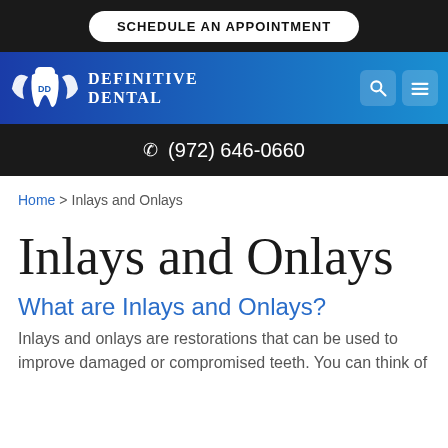SCHEDULE AN APPOINTMENT
[Figure (logo): Definitive Dental logo with wings and tooth icon, white on blue gradient background, with text 'Definitive Dental']
(972) 646-0660
Home > Inlays and Onlays
Inlays and Onlays
What are Inlays and Onlays?
Inlays and onlays are restorations that can be used to improve damaged or compromised teeth. You can think of